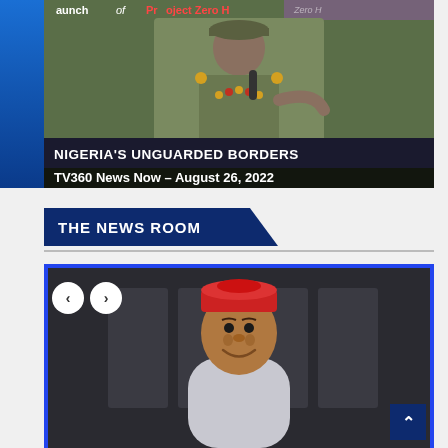[Figure (screenshot): TV news screenshot showing a military officer at a podium in front of a banner reading 'launch of Project Zero H'. Lower third banner reads 'NIGERIA'S UNGUARDED BORDERS'. Below that: 'TV360 News Now – August 26, 2022'.]
THE NEWS ROOM
[Figure (photo): Carousel image showing a smiling man wearing a red cap and grey traditional attire, with navigation arrows (< >) overlaid on the left side, set in a blue-framed container.]